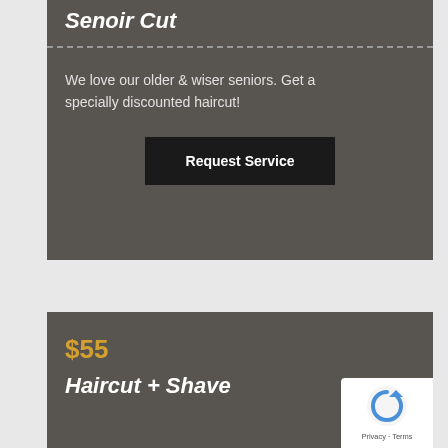Senoir Cut
We love our older & wiser seniors. Get a specially discounted haircut!
Request Service
$55
Haircut + Shave